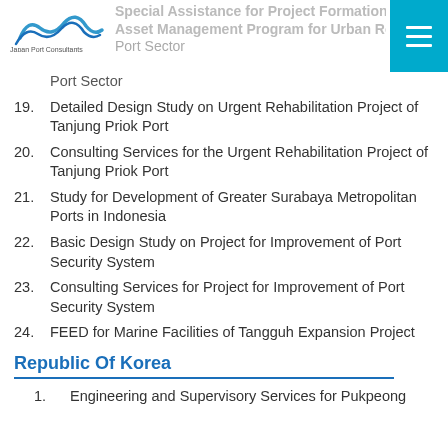Special Assistance for Project Formation/SAC... Asset Management Program for Urban Ro... Port Sector
Port Sector (partial/continuation)
19. Detailed Design Study on Urgent Rehabilitation Project of Tanjung Priok Port
20. Consulting Services for the Urgent Rehabilitation Project of Tanjung Priok Port
21. Study for Development of Greater Surabaya Metropolitan Ports in Indonesia
22. Basic Design Study on Project for Improvement of Port Security System
23. Consulting Services for Project for Improvement of Port Security System
24. FEED for Marine Facilities of Tangguh Expansion Project
Republic Of Korea
1. Engineering and Supervisory Services for Pukpeong